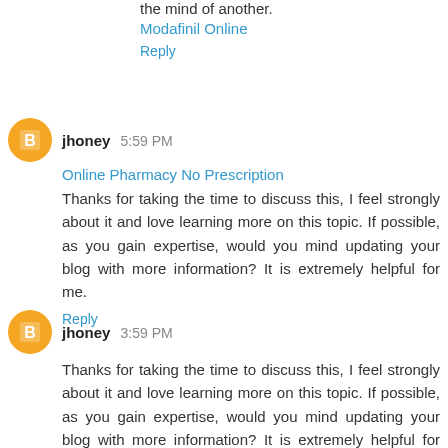the mind of another.
Modafinil Online
Reply
jhoney 5:59 PM
Online Pharmacy No Prescription
Thanks for taking the time to discuss this, I feel strongly about it and love learning more on this topic. If possible, as you gain expertise, would you mind updating your blog with more information? It is extremely helpful for me.
Reply
jhoney 3:59 PM
Thanks for taking the time to discuss this, I feel strongly about it and love learning more on this topic. If possible, as you gain expertise, would you mind updating your blog with more information? It is extremely helpful for me.
Cerrajeros en Barcelona